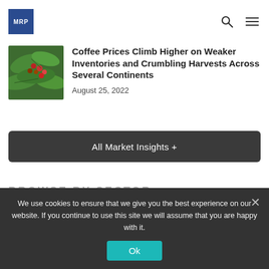MRP logo with search and menu icons
[Figure (photo): Close-up photo of coffee plant with red and green berries and large green leaves]
Coffee Prices Climb Higher on Weaker Inventories and Crumbling Harvests Across Several Continents
August 25, 2022
All Market Insights +
BROWSE BY SECTOR
We use cookies to ensure that we give you the best experience on our website. If you continue to use this site we will assume that you are happy with it.
Ok